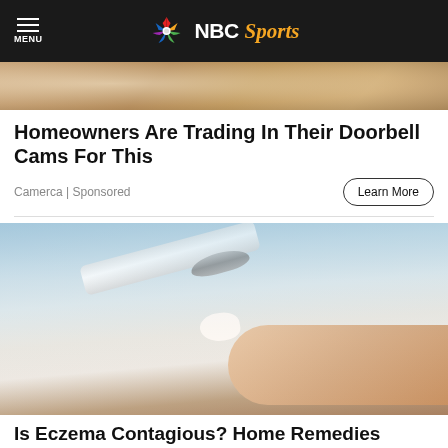MENU | NBC Sports
[Figure (photo): Partial view of doorbell or home security camera product image]
Homeowners Are Trading In Their Doorbell Cams For This
Camerca | Sponsored
Learn More
[Figure (photo): Close-up of a white cream tube being squeezed, dispensing cream onto a finger]
Is Eczema Contagious? Home Remedies Many